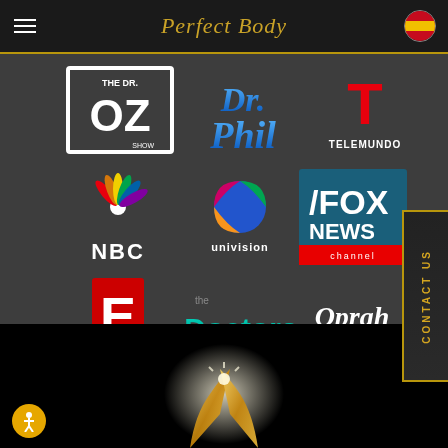Perfect Body
[Figure (logo): The Dr. OZ Show logo - white square border with OZ large text]
[Figure (logo): Dr. Phil logo - blue chrome 3D text]
[Figure (logo): Telemundo logo - red T with TELEMUNDO text]
[Figure (logo): NBC logo - colorful peacock feathers with NBC text]
[Figure (logo): Univision logo - colorful sphere with Univision text]
[Figure (logo): Fox News Channel logo - white text on dark teal background]
[Figure (logo): E! Entertainment logo - red E with Everything Entertainment text]
[Figure (logo): The Doctors logo - teal chrome 3D text with heart monitor line]
[Figure (logo): Oprah.com logo - signature with OPRAH.com text]